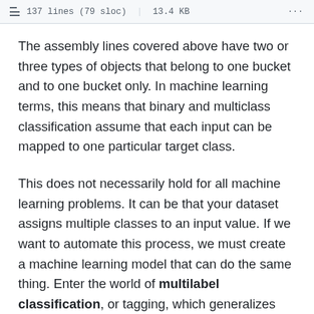137 lines (79 sloc) | 13.4 KB
The assembly lines covered above have two or three types of objects that belong to one bucket and to one bucket only. In machine learning terms, this means that binary and multiclass classification assume that each input can be mapped to one particular target class.
This does not necessarily hold for all machine learning problems. It can be that your dataset assigns multiple classes to an input value. If we want to automate this process, we must create a machine learning model that can do the same thing. Enter the world of multilabel classification, or tagging, which generalizes multiclass classification to a multi-class-at-once scenario. Visually, this looks as follows - indeed, rather than assigning one class and using